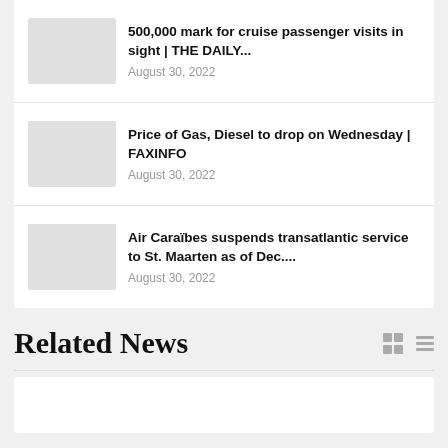500,000 mark for cruise passenger visits in sight | THE DAILY...
August 30, 2022
Price of Gas, Diesel to drop on Wednesday | FAXINFO
August 30, 2022
Air Caraïbes suspends transatlantic service to St. Maarten as of Dec....
August 30, 2022
Related News